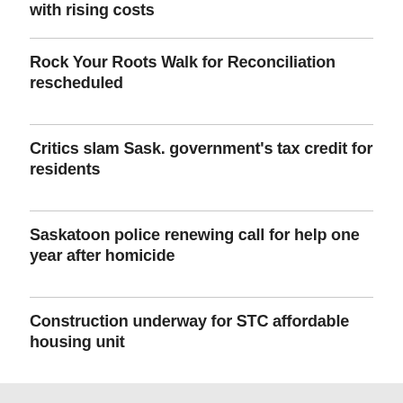with rising costs
Rock Your Roots Walk for Reconciliation rescheduled
Critics slam Sask. government's tax credit for residents
Saskatoon police renewing call for help one year after homicide
Construction underway for STC affordable housing unit